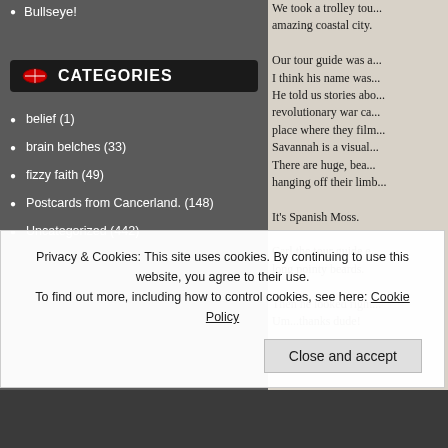Bullseye!
CATEGORIES
belief (1)
brain belches (33)
fizzy faith (49)
Postcards from Cancerland. (148)
Uncategorized (442)
We took a trolley tour... amazing coastal city. Our tour guide was a... I think his name was... He told us stories abo... revolutionary war ca... place where they film... Savannah is a visual... There are huge, bea... hanging off their limb... It's Spanish Moss. Carl the tour guide e... long pointy beards. Then he looked right... Um...thanks dude!
Privacy & Cookies: This site uses cookies. By continuing to use this website, you agree to their use. To find out more, including how to control cookies, see here: Cookie Policy
Close and accept